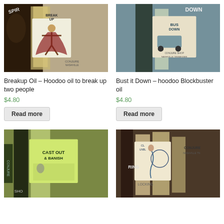[Figure (photo): Close-up photo of Breakup Oil hoodoo oil bottle with illustrated label showing a figure with arms raised, CONJURE shop Nashville Tennessee branding]
Breakup Oil – Hoodoo oil to break up two people
$4.80
Read more
[Figure (photo): Close-up photo of Bust it Down hoodoo Blockbuster oil bottle with illustrated label showing a vehicle scene, CONJURE Shop Nashville Tennessee branding]
Bust it Down – hoodoo Blockbuster oil
$4.80
Read more
[Figure (photo): Close-up photo of Cast Out and Banish oil bottle with illustrated label, Conjure Shop Nashville Tennessee branding]
[Figure (photo): Close-up photo of Uncrossing/Unblocking oil bottles with illustrated mermaid label, Conjure Shop Nashville Tennessee branding]